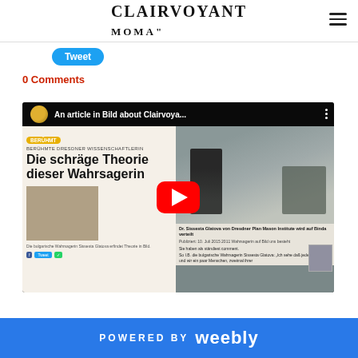CLAIRVOYANT (website header with hamburger menu)
Tweet
0 Comments
[Figure (screenshot): YouTube video embed showing a German newspaper article titled 'Die schräge Theorie dieser Wahrsagerin' from Bild, with a photo of a woman and a clairvoyant. Video title: An article in Bild about Clairvoya... Red YouTube play button in center.]
POWERED BY weebly